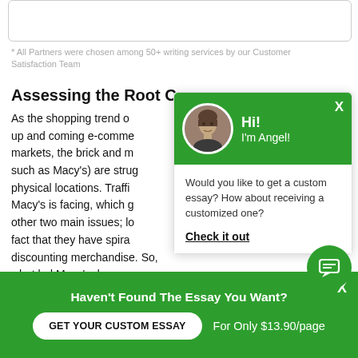[Figure (screenshot): Top white rounded box, partially visible, appears to be a UI widget or form element]
* All Partners were chosen among 50+ writing services by our Customer Satisfaction Team
Assessing the Root Cause
As the shopping trend o... up and coming e-comme... markets, the brick and m... such as Macy's) are strug... physical locations. Traff... Macy's is facing, which g... other two main issues; lo... fact that they have spira... discounting merchandise. So, what led Macy's dow... desperate road they seem to be going down? We wi...
[Figure (screenshot): Chat popup overlay with green header showing avatar of a person and text 'Hi! I'm Angel!', body with text 'Would you like to get a custom essay? How about receiving a customized one?' and a 'Check it out' link]
[Figure (screenshot): Green circular chat button with speech bubble icon]
Haven't Found The Essay You Want?
GET YOUR CUSTOM ESSAY
For Only $13.90/page